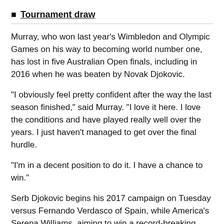Tournament draw
Murray, who won last year's Wimbledon and Olympic Games on his way to becoming world number one, has lost in five Australian Open finals, including in 2016 when he was beaten by Novak Djokovic.
"I obviously feel pretty confident after the way the last season finished," said Murray. "I love it here. I love the conditions and have played really well over the years. I just haven't managed to get over the final hurdle.
"I'm in a decent position to do it. I have a chance to win."
Serb Djokovic begins his 2017 campaign on Tuesday versus Fernando Verdasco of Spain, while America's Serena Williams, aiming to win a record-breaking seventh women's singles title faces Switzerland's Belinda Bencic.
A number of British players also have to wait until